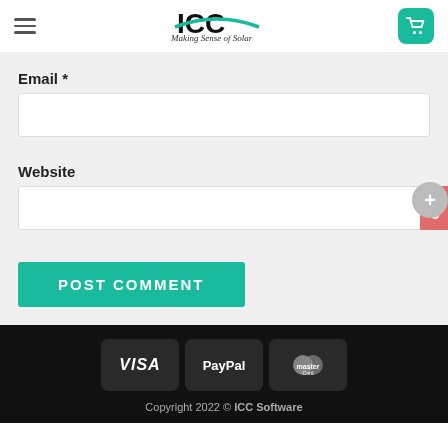ICC Making Sense of Solar
Email *
Website
POST COMMENT
[Figure (logo): Payment icons: VISA, PayPal, MasterCard on dark background]
Copyright 2022 © ICC Software